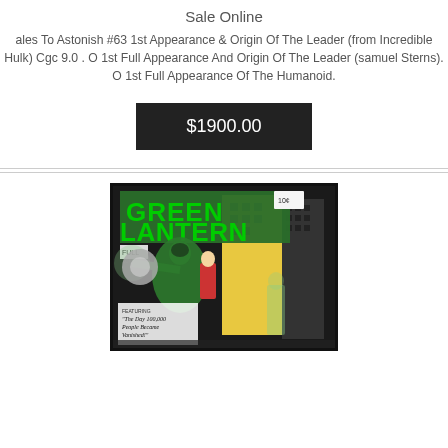Sale Online
ales To Astonish #63 1st Appearance & Origin Of The Leader (from Incredible Hulk) Cgc 9.0 . O 1st Full Appearance And Origin Of The Leader (samuel Sterns). O 1st Full Appearance Of The Humanoid.
$1900.00
[Figure (photo): Green Lantern comic book cover showing Green Lantern character in action on a city backdrop with villain, title reads GREEN LANTERN in large green letters]